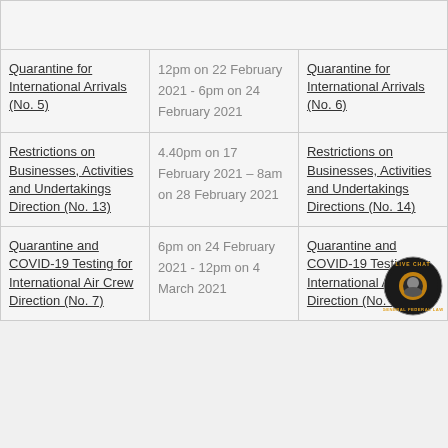| Replaced instrument | Date/time of operation | Replacing instrument |
| --- | --- | --- |
| Quarantine for International Arrivals (No. 5) | 12pm on 22 February 2021 - 6pm on 24 February 2021 | Quarantine for International Arrivals (No. 6) |
| Restrictions on Businesses, Activities and Undertakings Direction (No. 13) | 4.40pm on 17 February 2021 – 8am on 28 February 2021 | Restrictions on Businesses, Activities and Undertakings Directions (No. 14) |
| Quarantine and COVID-19 Testing for International Air Crew Direction (No. 7) | 6pm on 24 February 2021 - 12pm on 4 March 2021 | Quarantine and COVID-19 Testing for International Air Crew Direction (No. 8) |